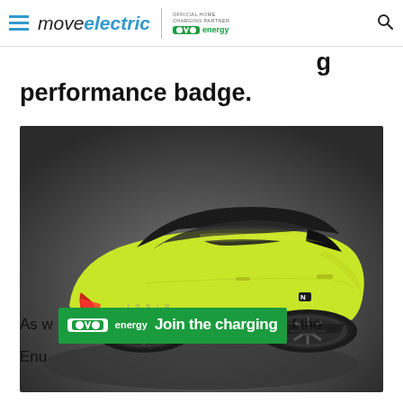move electric | OFFICIAL HOME CHARGING PARTNER ovo energy
performance badge.
[Figure (photo): Rear three-quarter view of a lime/yellow-green Hyundai Elantra N or similar electric performance sedan on a dark grey studio background. The car features a black roof, sporty alloy wheels, LED taillights, and an N badge on the rear quarter panel.]
As we [ovo energy banner: Join the charging] f the Enu...